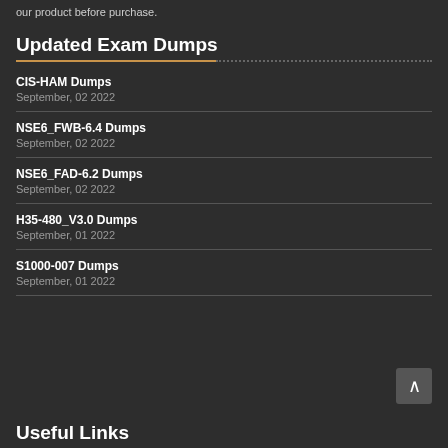our product before purchase.
Updated Exam Dumps
CIS-HAM Dumps
September, 02 2022
NSE6_FWB-6.4 Dumps
September, 02 2022
NSE6_FAD-6.2 Dumps
September, 02 2022
H35-480_V3.0 Dumps
September, 01 2022
S1000-007 Dumps
September, 01 2022
Useful Links